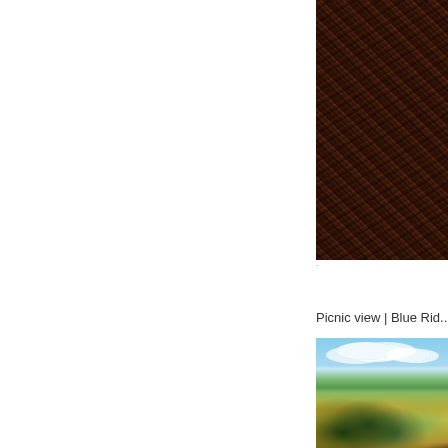[Figure (photo): Close-up photograph of dense autumn foliage with dark reddish-brown and green tones, appearing as a close-up of a tree canopy]
Picnic view | Blue Rid...
[Figure (photo): Scenic outdoor photograph showing a blue sky with white clouds above autumn trees with yellow, green, and orange foliage on rolling hills]